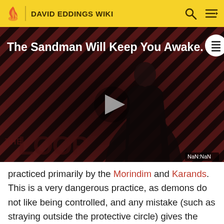DAVID EDDINGS WIKI
[Figure (screenshot): Video player thumbnail with dark red diagonal stripe background, figure of a person in black, 'The Loop' watermark text, and play button. Title reads 'The Sandman Will Keep You Awake.' with a table-of-contents icon top right. NaN:NaN timestamp shown bottom right.]
practiced primarily by the Morindim and Karands. This is a very dangerous practice, as demons do not like being controlled, and any mistake (such as straying outside the protective circle) gives the demon opportunity to eat the summoning magician and return to Hell.